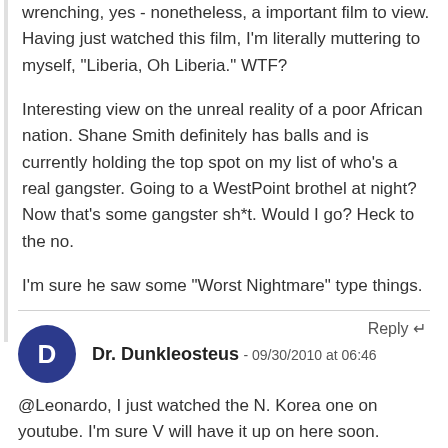wrenching, yes - nonetheless, a important film to view. Having just watched this film, I'm literally muttering to myself, "Liberia, Oh Liberia." WTF?

Interesting view on the unreal reality of a poor African nation. Shane Smith definitely has balls and is currently holding the top spot on my list of who's a real gangster. Going to a WestPoint brothel at night? Now that's some gangster sh*t. Would I go? Heck to the no.

I'm sure he saw some "Worst Nightmare" type things.
Reply ↵
Dr. Dunkleosteus - 09/30/2010 at 06:46
@Leonardo, I just watched the N. Korea one on youtube. I'm sure V will have it up on here soon.

That one is crazy as well! Shane Smith is a good